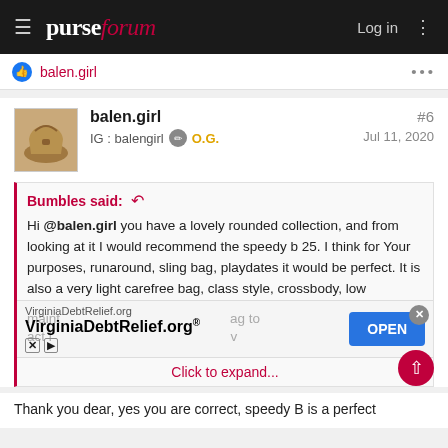purseforum — Log in
balen.girl
balen.girl
IG : balengirl  O.G.
#6
Jul 11, 2020
Bumbles said:
Hi @balen.girl you have a lovely rounded collection, and from looking at it I would recommend the speedy b 25. I think for Your purposes, runaround, sling bag, playdates it would be perfect. It is also a very light carefree bag, class style, crossbody, low maint...ag to
Click to expand...
[Figure (screenshot): VirginiaDebtRelief.org advertisement banner with OPEN button]
Thank you dear, yes you are correct, speedy B is a perfect